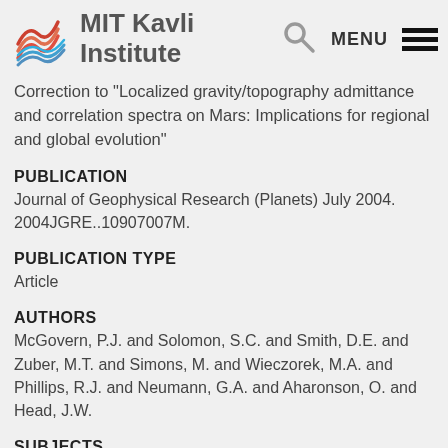MIT Kavli Institute
Correction to "Localized gravity/topography admittance and correlation spectra on Mars: Implications for regional and global evolution"
PUBLICATION
Journal of Geophysical Research (Planets) July 2004. 2004JGRE..10907007M.
PUBLICATION TYPE
Article
AUTHORS
McGovern, P.J. and Solomon, S.C. and Smith, D.E. and Zuber, M.T. and Simons, M. and Wieczorek, M.A. and Phillips, R.J. and Neumann, G.A. and Aharonson, O. and Head, J.W.
SUBJECTS
Planetology: Solar System Objects: Mars, Planetology: Solid Surface Planets: Gravitational fields (1227), Planetology: Solid